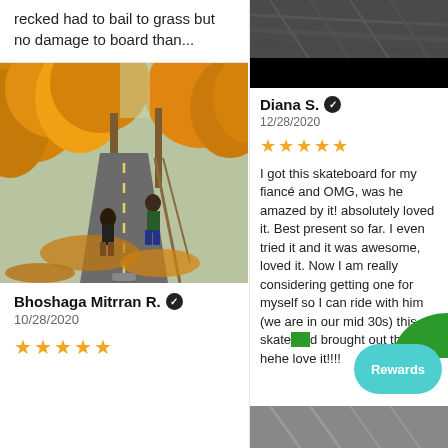recked had to bail to grass but no damage to board than...
[Figure (photo): Two people skateboarding on a tree-lined path covered in autumn leaves]
Bhoshaga Mitrran R. ✔ 10/28/2020 ★★★★★
[Figure (photo): Dark road/path with motion blur, top portion of right column]
Diana S. ✔ 12/28/2020 ★★★★★ I got this skateboard for my fiancé and OMG, was he amazed by it! absolutely loved it. Best present so far. I even tried it and it was awesome, loved it. Now I am really considering getting one for myself so I can ride with him (we are in our mid 30s) this skateboard brought out the k... hehe love it!!!!